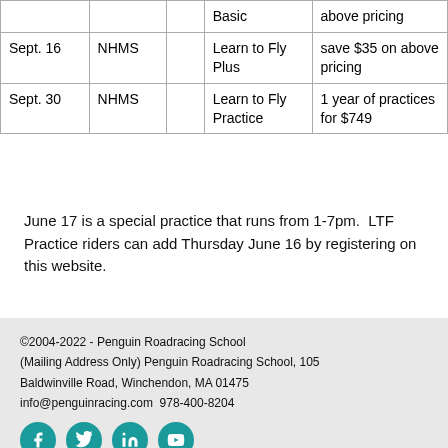| Date | Venue |  | Program | Notes |
| --- | --- | --- | --- | --- |
|  |  |  | Basic | above pricing |
| Sept. 16 | NHMS |  | Learn to Fly Plus | save $35 on above pricing |
| Sept. 30 | NHMS |  | Learn to Fly Practice | 1 year of practices for $749 |
June 17 is a special practice that runs from 1-7pm. LTF Practice riders can add Thursday June 16 by registering on this website.
©2004-2022 - Penguin Roadracing School (Mailing Address Only) Penguin Roadracing School, 105 Baldwinville Road, Winchendon, MA 01475 info@penguinracing.com 978-400-8204
Powered by Wild Apricot Membership Software